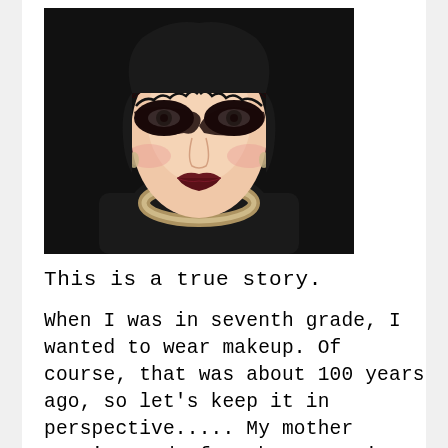[Figure (photo): Portrait photo of a person in dramatic drag makeup with heavy black and red eye makeup, drawn-on exaggerated eyebrows, false lashes, and dark lips. They are wearing a black outfit with a large chunky necklace. Background is dark/black.]
This is a true story.
When I was in seventh grade, I wanted to wear makeup. Of course, that was about 100 years ago, so let's keep it in perspective..... My mother wasn't ready for that step in my life quite yet, but I was.  Boy, was I ready. I read in a Seventeen magazine that